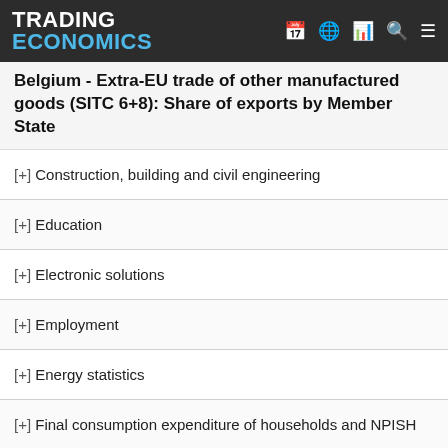TRADING ECONOMICS
Belgium - Extra-EU trade of other manufactured goods (SITC 6+8): Share of exports by Member State
[+] Construction, building and civil engineering
[+] Education
[+] Electronic solutions
[+] Employment
[+] Energy statistics
[+] Final consumption expenditure of households and NPISH
[+] Financial sector liabilities
[+] GDP and main components